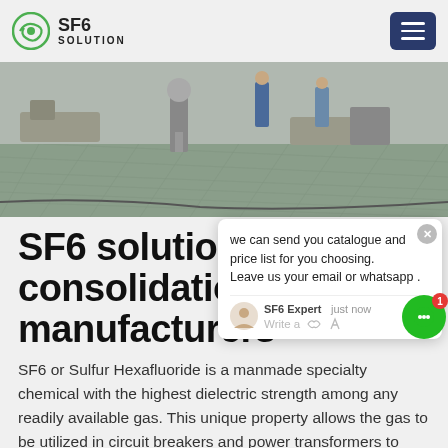SF6 SOLUTION
[Figure (photo): Industrial facility floor with equipment, workers in background, SF6 gas handling machinery visible]
SF6 solution consolidation manufacturers
SF6 or Sulfur Hexafluoride is a manmade specialty chemical with the highest dielectric strength among any readily available gas. This unique property allows the gas to be utilized in circuit breakers and power transformers to quench arcs, while safely protecting the electrical equipment from damage